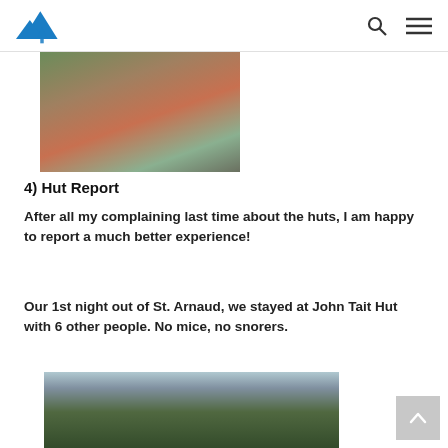[Figure (photo): A hiker smiling, carrying a large backpack in a mountain/bush environment]
4) Hut Report
After all my complaining last time about the huts, I am happy to report a much better experience!
Our 1st night out of St. Arnaud, we stayed at John Tait Hut with 6 other people. No mice, no snorers.
[Figure (photo): A scenic mountain landscape with trees and cloudy sky]